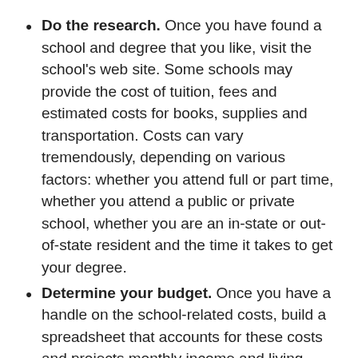Do the research. Once you have found a school and degree that you like, visit the school's web site. Some schools may provide the cost of tuition, fees and estimated costs for books, supplies and transportation. Costs can vary tremendously, depending on various factors: whether you attend full or part time, whether you attend a public or private school, whether you are an in-state or out-of-state resident and the time it takes to get your degree.
Determine your budget. Once you have a handle on the school-related costs, build a spreadsheet that accounts for these costs and projects monthly income and living expenses. Working through a savings plan beforehand can help you financially prepare